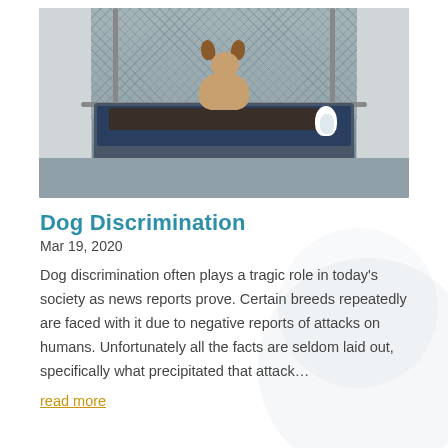[Figure (photo): A beagle dog sitting on a raised blue dog bed/cot inside a kennel with chain-link fencing. A stuffed toy penguin is on the bed beside the dog. The kennel has white block walls.]
Dog Discrimination
Mar 19, 2020
Dog discrimination often plays a tragic role in today’s society as news reports prove. Certain breeds repeatedly are faced with it due to negative reports of attacks on humans. Unfortunately all the facts are seldom laid out, specifically what precipitated that attack…
read more